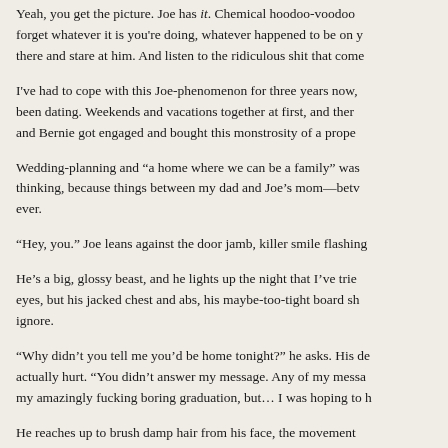Yeah, you get the picture. Joe has it. Chemical hoodoo-voodoo forget whatever it is you're doing, whatever happened to be on y there and stare at him. And listen to the ridiculous shit that come
I've had to cope with this Joe-phenomenon for three years now, been dating. Weekends and vacations together at first, and ther and Bernie got engaged and bought this monstrosity of a prope
Wedding-planning and “a home where we can be a family” was thinking, because things between my dad and Joe’s mom—betv ever.
“Hey, you.” Joe leans against the door jamb, killer smile flashing
He’s a big, glossy beast, and he lights up the night that I’ve trie eyes, but his jacked chest and abs, his maybe-too-tight board sh ignore.
“Why didn’t you tell me you’d be home tonight?” he asks. His de actually hurt. “You didn’t answer my message. Any of my messa my amazingly fucking boring graduation, but… I was hoping to h
He reaches up to brush damp hair from his face, the movement